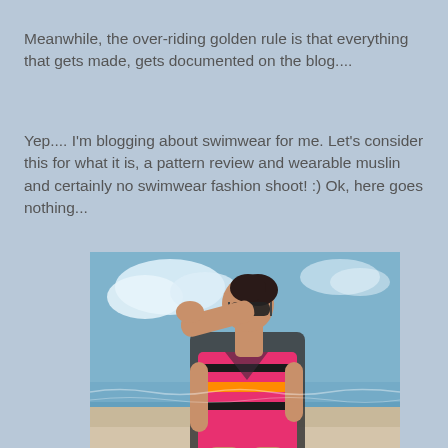Meanwhile, the over-riding golden rule is that everything that gets made, gets documented on the blog....
Yep.... I'm blogging about swimwear for me. Let's consider this for what it is, a pattern review and wearable muslin and certainly no swimwear fashion shoot! :) Ok, here goes nothing...
[Figure (photo): Woman wearing a colorful striped swimsuit standing on a beach, shielding her eyes with her hand, wearing sunglasses, with ocean and blue sky in the background.]